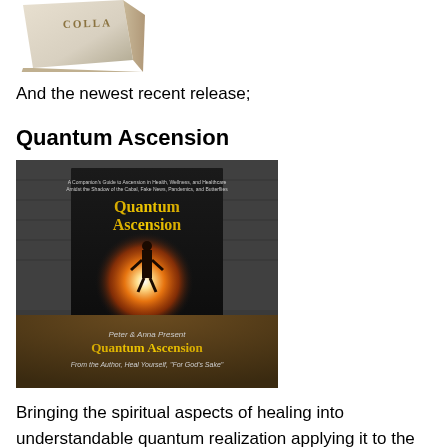[Figure (photo): Partial view of a book cover showing 'COLLA' text at top, white book on light background]
And the newest recent release;
Quantum Ascension
[Figure (photo): Book cover image for 'Quantum Ascension' by Peter Colla. Shows a dramatic image of a silhouette standing in front of a large glowing orange/red light. Text includes: 'A Companion's Guide to Ascension in Health, Wellness, and Healthcare Amidst the Shadow of the Cabal, Fake News, Pandemics, and Butterflies', 'Quantum Ascension', 'PETER COLLA', 'Peter & Anna Present Quantum Ascension', 'From the Author, Heal Yourself, "For God's Sake"']
Bringing the spiritual aspects of healing into understandable quantum realization applying it to the